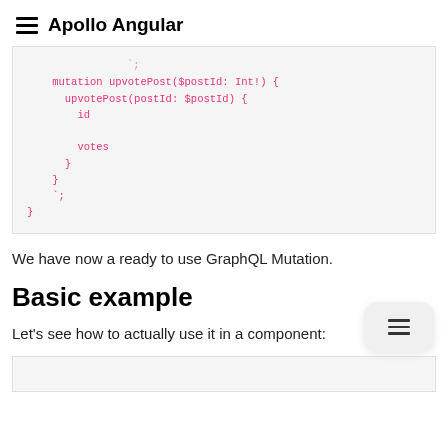Apollo Angular
[Figure (screenshot): Code block showing GraphQL mutation: mutation upvotePost($postId: Int!) { upvotePost(postId: $postId) { id votes } } `;]
We have now a ready to use GraphQL Mutation.
Basic example
Let's see how to actually use it in a component:
[Figure (screenshot): Beginning of next code block (partially visible)]